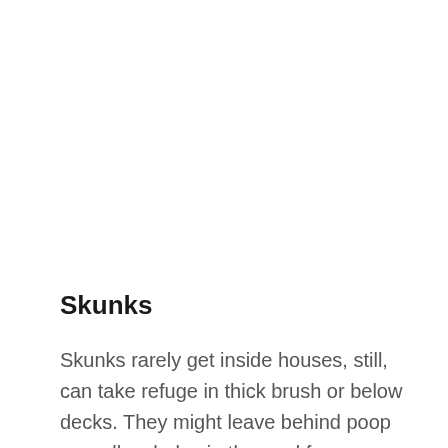Skunks
Skunks rarely get inside houses, still, can take refuge in thick brush or below decks. They might leave behind poop as well as holes in the yard from feeding. The holes may be a few inches in width and cone-